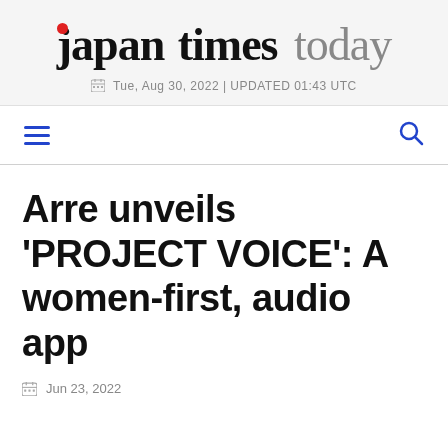japan times today
Tue, Aug 30, 2022 | UPDATED 01:43 UTC
Arre unveils 'PROJECT VOICE': A women-first, audio app
Jun 23, 2022